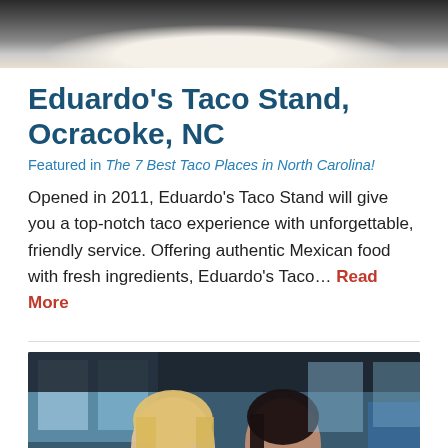[Figure (photo): Partial top photo of food on a plate, cropped at top of page]
Eduardo's Taco Stand, Ocracoke, NC
Featured in The 7 Best Taco Places in North Carolina!
Opened in 2011, Eduardo's Taco Stand will give you a top-notch taco experience with unforgettable, friendly service. Offering authentic Mexican food with fresh ingredients, Eduardo's Taco... Read More
[Figure (photo): Two smiling women at a restaurant, one blonde and one brunette, holding wine glasses, with large windows in background]